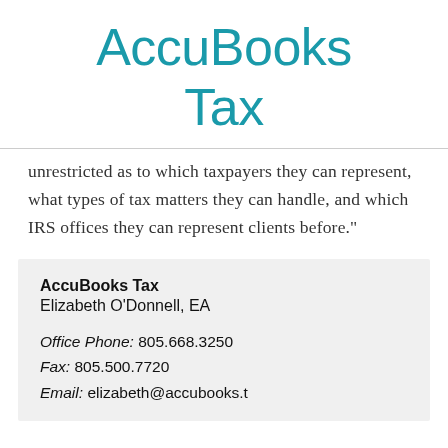AccuBooks Tax
unrestricted as to which taxpayers they can represent, what types of tax matters they can handle, and which IRS offices they can represent clients before."
AccuBooks Tax
Elizabeth O'Donnell, EA

Office Phone: 805.668.3250
Fax: 805.500.7720
Email: elizabeth@accubooks.tax